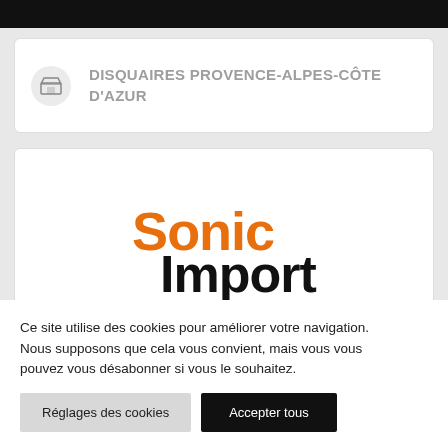DISQUAIRES PROVENCE-ALPES-CÔTE D'AZUR
[Figure (logo): Sonic Import logo — 'Sonic' in bold orange and 'Import' in bold black]
Ce site utilise des cookies pour améliorer votre navigation. Nous supposons que cela vous convient, mais vous pouvez vous désabonner si vous le souhaitez.
Réglages des cookies
Accepter tous